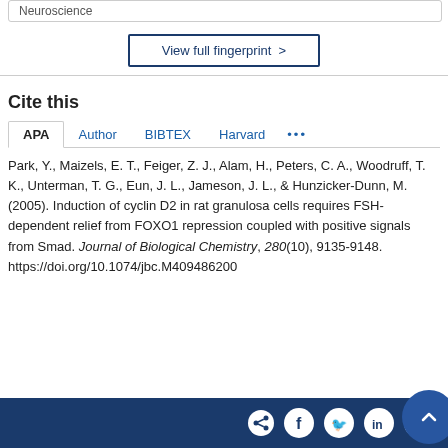Neuroscience
View full fingerprint >
Cite this
APA | Author | BIBTEX | Harvard | ...
Park, Y., Maizels, E. T., Feiger, Z. J., Alam, H., Peters, C. A., Woodruff, T. K., Unterman, T. G., Eun, J. L., Jameson, J. L., & Hunzicker-Dunn, M. (2005). Induction of cyclin D2 in rat granulosa cells requires FSH-dependent relief from FOXO1 repression coupled with positive signals from Smad. Journal of Biological Chemistry, 280(10), 9135-9148. https://doi.org/10.1074/jbc.M409486200